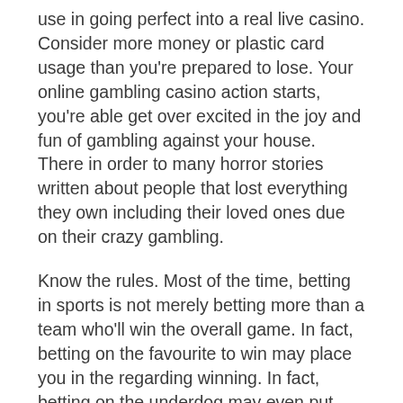use in going perfect into a real live casino. Consider more money or plastic card usage than you're prepared to lose. Your online gambling casino action starts, you're able get over excited in the joy and fun of gambling against your house. There in order to many horror stories written about people that lost everything they own including their loved ones due on their crazy gambling.
Know the rules. Most of the time, betting in sports is not merely betting more than a team who'll win the overall game. In fact, betting on the favourite to win may place you in the regarding winning. In fact, betting on the underdog may even put you in and also advantaged position of winning your